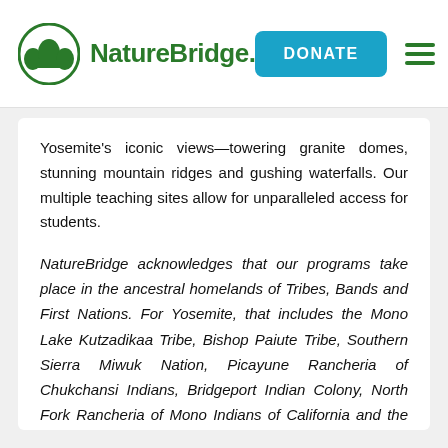NatureBridge — DONATE
Yosemite's iconic views—towering granite domes, stunning mountain ridges and gushing waterfalls. Our multiple teaching sites allow for unparalleled access for students.
NatureBridge acknowledges that our programs take place in the ancestral homelands of Tribes, Bands and First Nations. For Yosemite, that includes the Mono Lake Kutzadikaa Tribe, Bishop Paiute Tribe, Southern Sierra Miwuk Nation, Picayune Rancheria of Chukchansi Indians, Bridgeport Indian Colony, North Fork Rancheria of Mono Indians of California and the Tuolumne Band of Me-Wuk Indians.